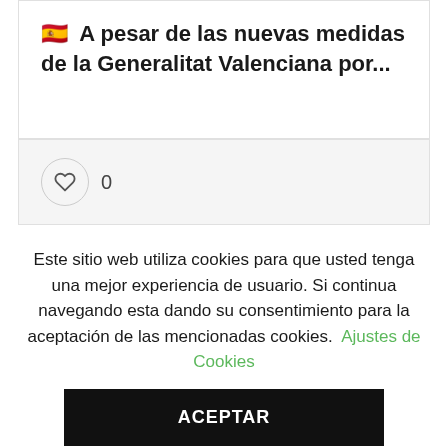🇪🇸 A pesar de las nuevas medidas de la Generalitat Valenciana por...
[Figure (other): Heart/like button with count 0]
Este sitio web utiliza cookies para que usted tenga una mejor experiencia de usuario. Si continua navegando esta dando su consentimiento para la aceptación de las mencionadas cookies. Ajustes de Cookies
ACEPTAR